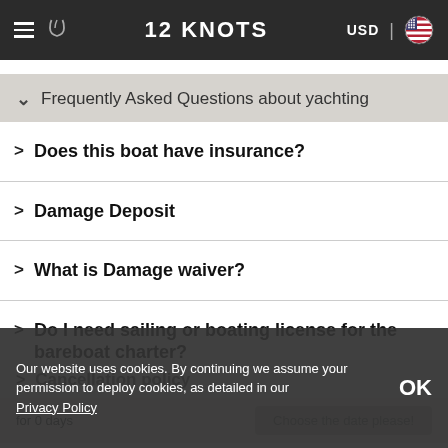12 KNOTS — USD navigation bar
Frequently Asked Questions about yachting
Does this boat have insurance?
Damage Deposit
What is Damage waiver?
Do I need sailing or boating license for the bareboat charter?
Cancellation policy
for 0 days
Choose the date please!
Our website uses cookies. By continuing we assume your permission to deploy cookies, as detailed in our Privacy Policy  OK